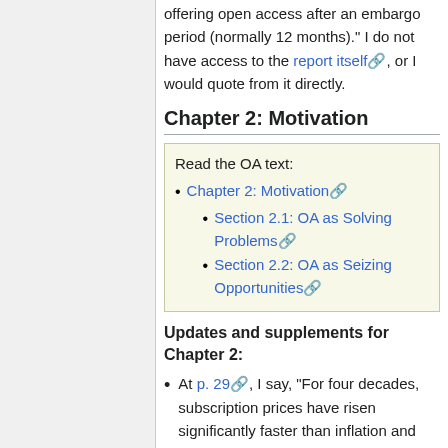offering open access after an embargo period (normally 12 months)." I do not have access to the report itself, or I would quote from it directly.
Chapter 2: Motivation
Read the OA text:
Chapter 2: Motivation
Section 2.1: OA as Solving Problems
Section 2.2: OA as Seizing Opportunities
Updates and supplements for Chapter 2:
At p. 29, I say, "For four decades, subscription prices have risen significantly faster than inflation and significantly faster than library